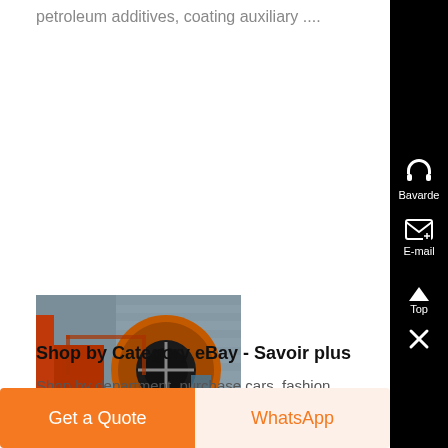petroleum additives, coating auxiliary ....
[Figure (photo): Industrial machinery photo showing a large rotary drum or kiln with orange/brown metallic structure and mechanical components, set outdoors.]
Shop by Category eBay - Savoir plus
Shop by department, purchase cars, fashion apparel, collectibles, sporting goods, cameras, baby items, and
Get a Quote
WhatsApp